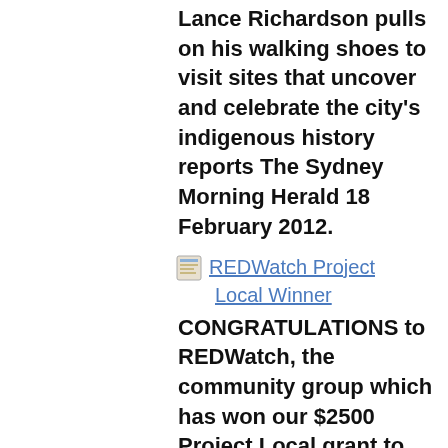Lance Richardson pulls on his walking shoes to visit sites that uncover and celebrate the city's indigenous history reports The Sydney Morning Herald 18 February 2012.
REDWatch Project
Local Winner
CONGRATULATIONS to REDWatch, the community group which has won our $2500 Project Local grant to help disseminate community information and hold local forums reports Central Magazine on 14 December 2011.